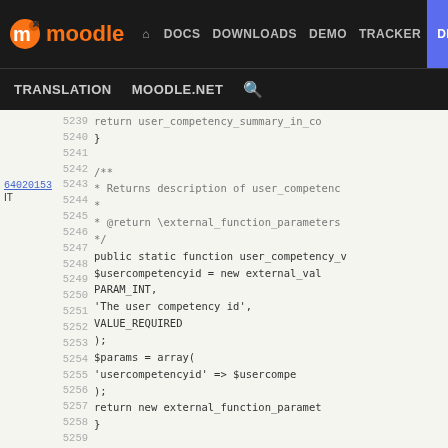moodle DOCS DOWNLOADS DEMO TRACKER DEV TRANSLATION MOODLE.NET
[Figure (screenshot): Moodle developer documentation site navigation bar with logo and nav links including DOCS, DOWNLOADS, DEMO, TRACKER, DEV (active), TRANSLATION, MOODLE.NET, and search icon]
Code viewer showing PHP source lines 5239-5265 with function user_competency_summary_in_course, docblock for user_competency_viewed, $usercompetencyid parameter, $params array, external_function_parameters returns, and Log user competency viewed event docblock